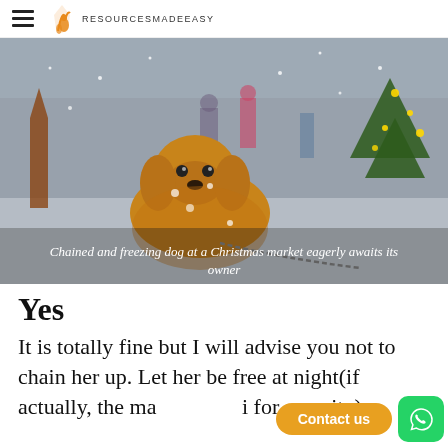RESOURCESMADEEASY
[Figure (photo): A golden retriever dog on a chain standing in a snowy Christmas market setting, with decorated trees and people in background. Snow is falling.]
Chained and freezing dog at a Christmas market eagerly awaits its owner
Yes
It is totally fine but I will advise you not to chain her up. Let her be free at night(if actually, the ma... i for security).